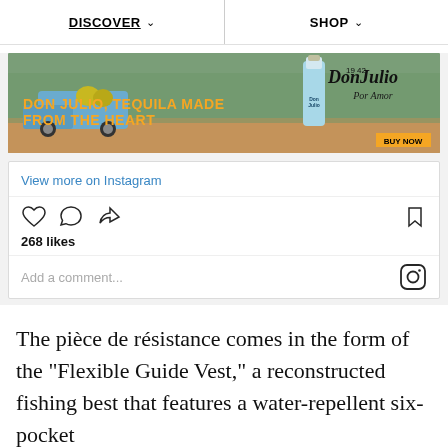DISCOVER ∨   |   SHOP ∨
[Figure (photo): Don Julio tequila advertisement banner. Orange text reads 'DON JULIO, TEQUILA MADE FROM THE HEART' on a background with agave fields and a blue truck. Don Julio Blanco bottle and logo visible on the right, with 'BUY NOW' button.]
View more on Instagram
268 likes
Add a comment...
The pièce de résistance comes in the form of the "Flexible Guide Vest," a reconstructed fishing best that features a water-repellent six-pocket